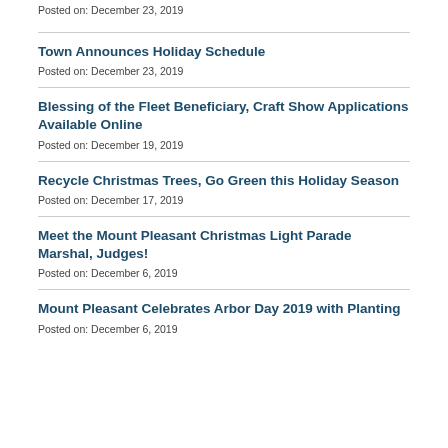Posted on: December 23, 2019
Town Announces Holiday Schedule
Posted on: December 23, 2019
Blessing of the Fleet Beneficiary, Craft Show Applications Available Online
Posted on: December 19, 2019
Recycle Christmas Trees, Go Green this Holiday Season
Posted on: December 17, 2019
Meet the Mount Pleasant Christmas Light Parade Marshal, Judges!
Posted on: December 6, 2019
Mount Pleasant Celebrates Arbor Day 2019 with Planting
Posted on: December 6, 2019